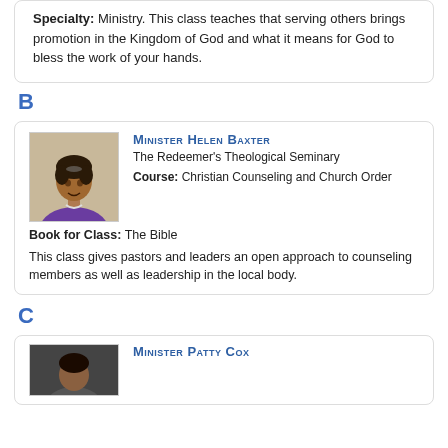others brings promotion in the Kingdom of God and what it means for God to bless the work of your hands.
B
[Figure (photo): Portrait photo of Minister Helen Baxter]
Minister Helen Baxter
The Redeemer's Theological Seminary
Course: Christian Counseling and Church Order
Book for Class: The Bible
This class gives pastors and leaders an open approach to counseling members as well as leadership in the local body.
C
[Figure (photo): Partial portrait photo of Minister Patty Cox]
Minister Patty Cox